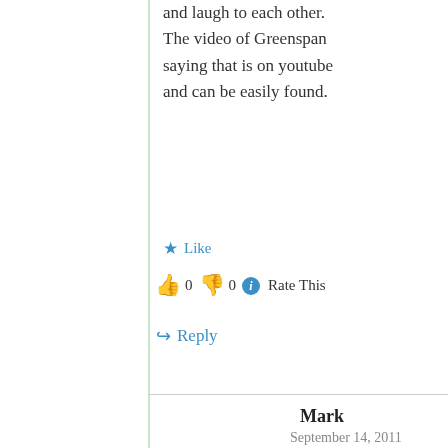and laugh to each other. The video of Greenspan saying that is on youtube and can be easily found.
★ Like
👍 0 👎 0 ℹ Rate This
↪ Reply
Mark
September 14, 2011 at 10:53 pm
http://...